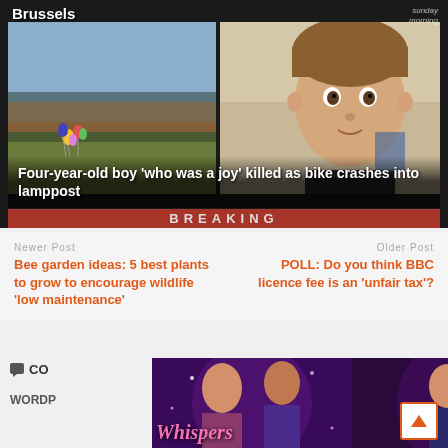[Figure (screenshot): News website screenshot showing a breaking news story about a four-year-old boy killed when a bike crashed into a lamppost. Top label reads 'Brussels'. Sunday morning watermark in top right. Image shows a field with balloons and a child's face.]
Newer Post
Bee garden ideas: 5 best plants to grow to encourage wildlife 'low maintenance'
Older Post
POLL: Do you think BBC licence fee is an 'unfair tax'?
[Figure (screenshot): Advertisement banner showing romantic story game 'Whispers' with illustrated characters in romantic scenes. Has a close (X) button and question (?) button.]
CO
WORDP